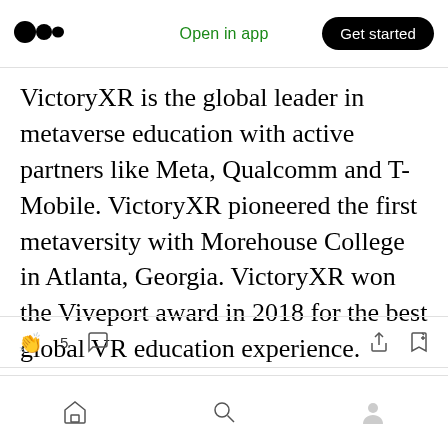[Figure (logo): Medium logo — two overlapping black circles]
Open in app
Get started
VictoryXR is the global leader in metaverse education with active partners like Meta, Qualcomm and T-Mobile. VictoryXR pioneered the first metaversity with Morehouse College in Atlanta, Georgia. VictoryXR won the Viveport award in 2018 for the best global VR education experience.
https://victoryxr.com
[Figure (infographic): Article action bar with clap icon, count 5, comment icon, share icon, and bookmark icon]
[Figure (infographic): Bottom navigation bar with home icon, search icon, and profile icon]